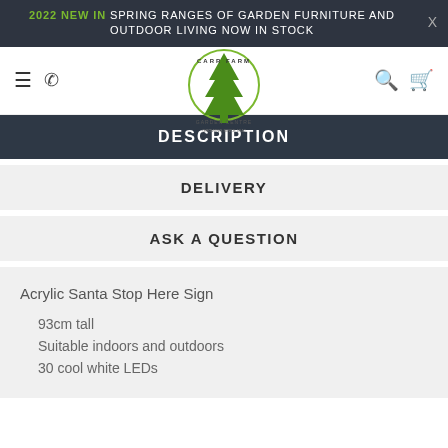2022 NEW IN SPRING RANGES OF GARDEN FURNITURE AND OUTDOOR LIVING NOW IN STOCK
[Figure (logo): Carr Farm Garden Centre circular logo with green tree illustration and text 'Growing Since 1942']
DESCRIPTION
DELIVERY
ASK A QUESTION
Acrylic Santa Stop Here Sign
93cm tall
Suitable indoors and outdoors
30 cool white LEDs